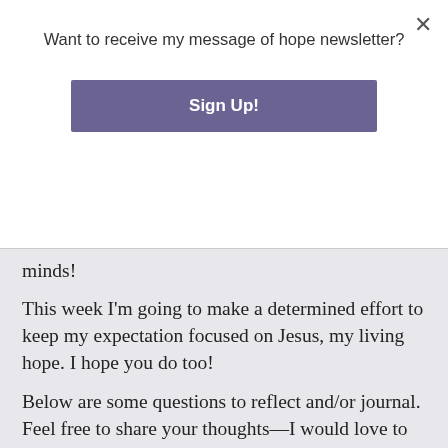Want to receive my message of hope newsletter?
Sign Up!
minds!
This week I'm going to make a determined effort to keep my expectation focused on Jesus, my living hope. I hope you do too!
Below are some questions to reflect and/or journal. Feel free to share your thoughts—I would love to hear from you.
Do you have areas where hope has been deferred or even died?
How will this knowledge affect your prayer life?
How will this affect the way you see your circumstances?
Have a week full of hope in Jesus!